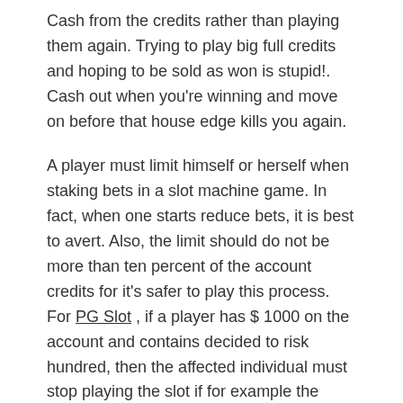Cash from the credits rather than playing them again. Trying to play big full credits and hoping to be sold as won is stupid!. Cash out when you're winning and move on before that house edge kills you again.
A player must limit himself or herself when staking bets in a slot machine game. In fact, when one starts reduce bets, it is best to avert. Also, the limit should do not be more than ten percent of the account credits for it's safer to play this process. For PG Slot , if a player has $ 1000 on the account and contains decided to risk hundred, then the affected individual must stop playing the slot if for example the account remains with nine hundred. In it, a gamer loses a he or she gets. Hence, it's